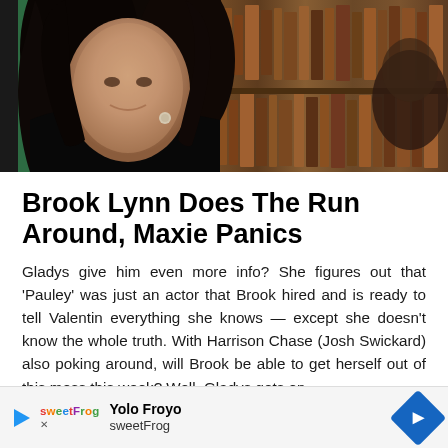[Figure (photo): Woman with dark hair wearing a black jacket, photographed indoors near a bookcase. A partial figure of another person is visible on the right edge.]
Brook Lynn Does The Run Around, Maxie Panics
Gladys give him even more info? She figures out that 'Pauley' was just an actor that Brook hired and is ready to tell Valentin everything she knows — except she doesn't know the whole truth. With Harrison Chase (Josh Swickard) also poking around, will Brook be able to get herself out of this mess this week? Well, Gladys gets on the phone and gives a little tip, and...
[Figure (screenshot): Advertisement banner for Yolo Froyo / sweetFrog with a blue diamond arrow icon on the right.]